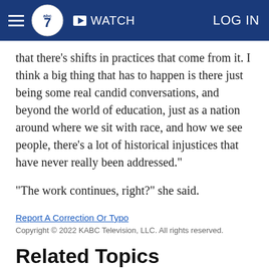ABC7 navigation bar with hamburger menu, abc7 logo, WATCH button, LOG IN link
that there's shifts in practices that come from it. I think a big thing that has to happen is there just being some real candid conversations, and beyond the world of education, just as a nation around where we sit with race, and how we see people, there's a lot of historical injustices that have never really been addressed."
"The work continues, right?" she said.
Report A Correction Or Typo
Copyright © 2022 KABC Television, LLC. All rights reserved.
Related Topics